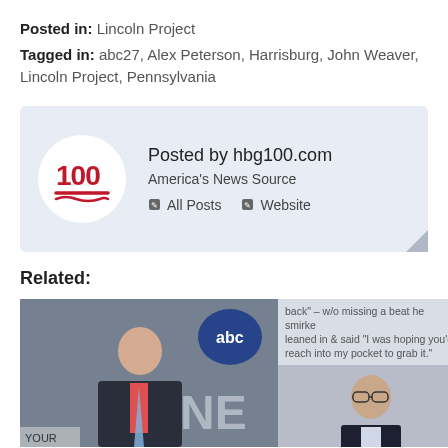Posted in: Lincoln Project
Tagged in: abc27, Alex Peterson, Harrisburg, John Weaver, Lincoln Project, Pennsylvania
[Figure (other): Author bio box with hbg100.com logo (100 emoji in red), posted by hbg100.com, America's News Source, All Posts and Website links]
Related:
[Figure (photo): Left: photo of a young male news anchor in front of ABC news backdrop. Right top: text snippet reading 'back' - w/o missing a beat he smirked leaned in & said "I was hoping you'd reach into my pocket to grab it." Right bottom: photo of a man in glasses and dark blazer.]